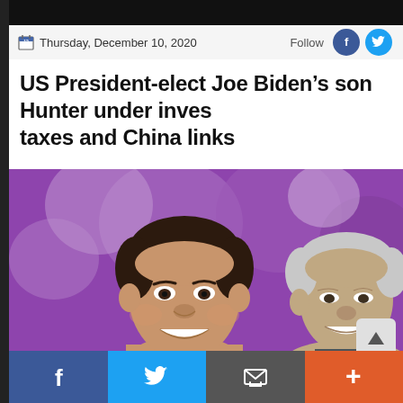Thursday, December 10, 2020
US President-elect Joe Biden’s son Hunter under inves taxes and China links
[Figure (photo): Photo of Hunter Biden smiling in foreground and Joe Biden in background, with purple/lavender bokeh background]
Share bar with Facebook, Twitter, Email, and More buttons